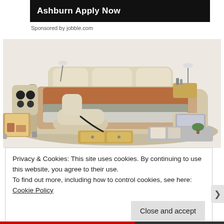Ashburn Apply Now
Sponsored by jobble.com
[Figure (photo): A luxurious multi-functional bed with built-in speakers, massage chair, storage drawers, side tables, reading lamps, and laptop stand — shown in cream/beige upholstery with a brown/rust colored bedspread.]
Privacy & Cookies: This site uses cookies. By continuing to use this website, you agree to their use.
To find out more, including how to control cookies, see here: Cookie Policy
Close and accept